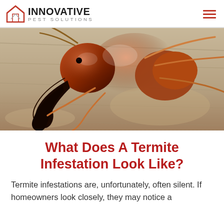INNOVATIVE PEST SOLUTIONS
[Figure (photo): Extreme close-up macro photograph of a termite (soldier caste) with large dark mandibles/pincers, reddish-brown body, on a wood surface]
What Does A Termite Infestation Look Like?
Termite infestations are, unfortunately, often silent. If homeowners look closely, they may notice a